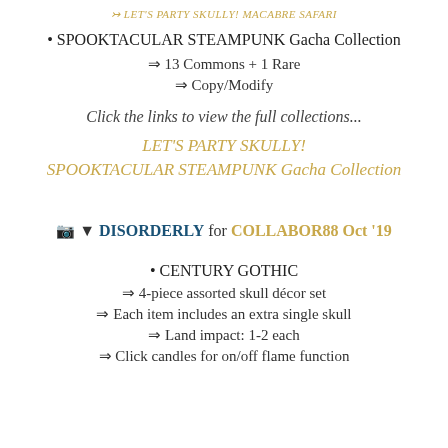↣ LET'S PARTY SKULLY! MACABRE SAFARI
• SPOOKTACULAR STEAMPUNK Gacha Collection
⇒ 13 Commons + 1 Rare
⇒ Copy/Modify
Click the links to view the full collections...
LET'S PARTY SKULLY!
SPOOKTACULAR STEAMPUNK Gacha Collection
📷 ▼ DISORDERLY for COLLABOR88 Oct '19
• CENTURY GOTHIC
⇒ 4-piece assorted skull décor set
⇒ Each item includes an extra single skull
⇒ Land impact: 1-2 each
⇒ Click candles for on/off flame function